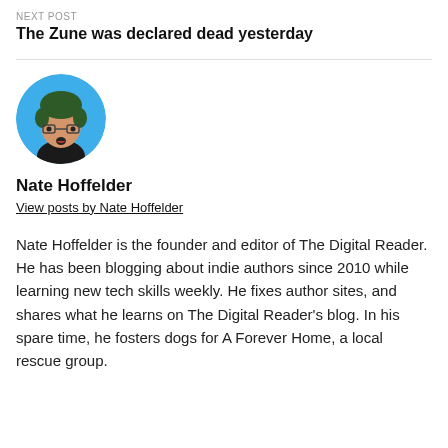NEXT POST
The Zune was declared dead yesterday
[Figure (illustration): Circular avatar illustration of Nate Hoffelder — a cartoon person with dark green hair and glasses, set against a blue circle background]
Nate Hoffelder
View posts by Nate Hoffelder
Nate Hoffelder is the founder and editor of The Digital Reader. He has been blogging about indie authors since 2010 while learning new tech skills weekly. He fixes author sites, and shares what he learns on The Digital Reader's blog. In his spare time, he fosters dogs for A Forever Home, a local rescue group.